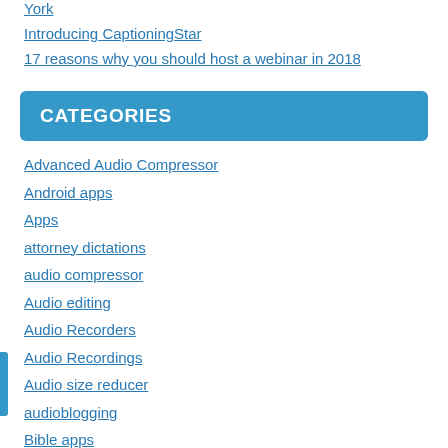York
Introducing CaptioningStar
17 reasons why you should host a webinar in 2018
CATEGORIES
Advanced Audio Compressor
Android apps
Apps
attorney dictations
audio compressor
Audio editing
Audio Recorders
Audio Recordings
Audio size reducer
audioblogging
Bible apps